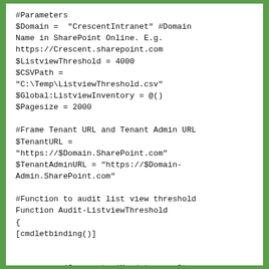#Parameters
$Domain =  "CrescentIntranet" #Domain Name in SharePoint Online. E.g. https://Crescent.sharepoint.com
$ListviewThreshold = 4000
$CSVPath =
"C:\Temp\ListviewThreshold.csv"
$Global:ListviewInventory = @()
$Pagesize = 2000

#Frame Tenant URL and Tenant Admin URL
$TenantURL =
"https://$Domain.SharePoint.com"
$TenantAdminURL = "https://$Domain-Admin.SharePoint.com"

#Function to audit list view threshold
Function Audit-ListviewThreshold
{
[cmdletbinding()]


    param([parameter(Mandatory = $true,
ValueFromPipeline = $true)] $Web)